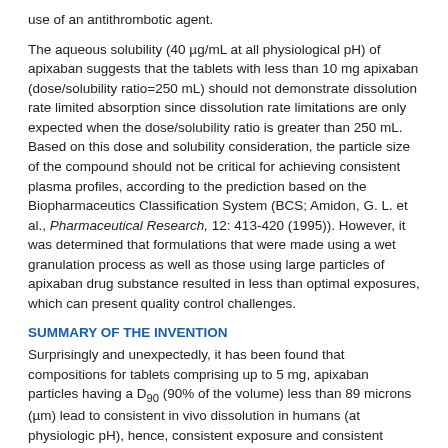use of an antithrombotic agent.
The aqueous solubility (40 µg/mL at all physiological pH) of apixaban suggests that the tablets with less than 10 mg apixaban (dose/solubility ratio=250 mL) should not demonstrate dissolution rate limited absorption since dissolution rate limitations are only expected when the dose/solubility ratio is greater than 250 mL. Based on this dose and solubility consideration, the particle size of the compound should not be critical for achieving consistent plasma profiles, according to the prediction based on the Biopharmaceutics Classification System (BCS; Amidon, G. L. et al., Pharmaceutical Research, 12: 413-420 (1995)). However, it was determined that formulations that were made using a wet granulation process as well as those using large particles of apixaban drug substance resulted in less than optimal exposures, which can present quality control challenges.
SUMMARY OF THE INVENTION
Surprisingly and unexpectedly, it has been found that compositions for tablets comprising up to 5 mg, apixaban particles having a D90 (90% of the volume) less than 89 microns (µm) lead to consistent in vivo dissolution in humans (at physiologic pH), hence, consistent exposure and consistent Factor Xa inhibition that will lead to consistency in therapeutic effect. Consistent exposure is defined as that where in vivo exposure from tablets is similar to that from a solution and not affected by the differences in